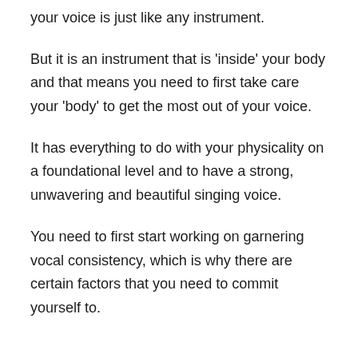your voice is just like any instrument.
But it is an instrument that is 'inside' your body and that means you need to first take care your 'body' to get the most out of your voice.
It has everything to do with your physicality on a foundational level and to have a strong, unwavering and beautiful singing voice.
You need to first start working on garnering vocal consistency, which is why there are certain factors that you need to commit yourself to.